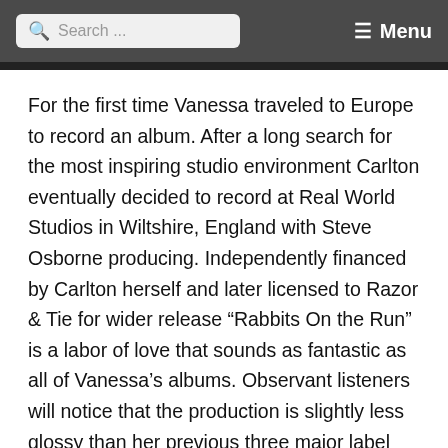Search ... Menu
For the first time Vanessa traveled to Europe to record an album. After a long search for the most inspiring studio environment Carlton eventually decided to record at Real World Studios in Wiltshire, England with Steve Osborne producing. Independently financed by Carlton herself and later licensed to Razor & Tie for wider release “Rabbits On the Run” is a labor of love that sounds as fantastic as all of Vanessa’s albums. Observant listeners will notice that the production is slightly less glossy than her previous three major label albums. What the album lacks in textural gloss and visual flair it more than compensates by the sheer honesty and